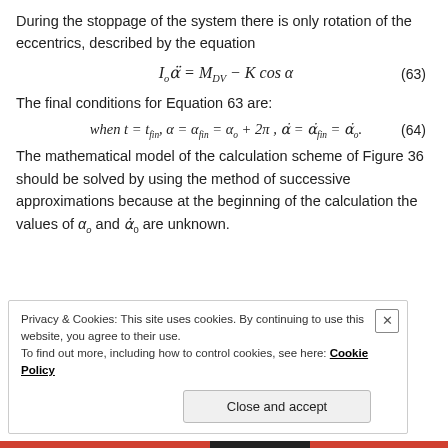During the stoppage of the system there is only rotation of the eccentrics, described by the equation
The final conditions for Equation 63 are:
The mathematical model of the calculation scheme of Figure 36 should be solved by using the method of successive approximations because at the beginning of the calculation the values of α₀ and α̇₀ are unknown.
Privacy & Cookies: This site uses cookies. By continuing to use this website, you agree to their use.
To find out more, including how to control cookies, see here: Cookie Policy